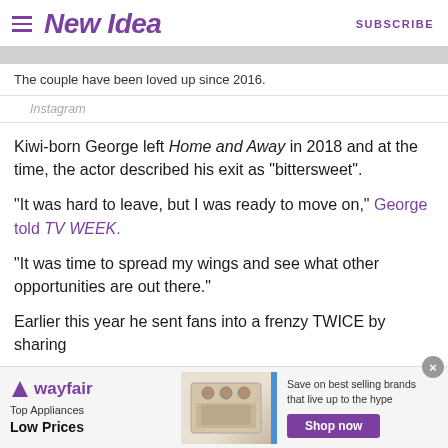New Idea | SUBSCRIBE
[Figure (photo): Partial image placeholder (gray bar, image cropped at top)]
The couple have been loved up since 2016.
Instagram
Kiwi-born George left Home and Away in 2018 and at the time, the actor described his exit as "bittersweet".
"It was hard to leave, but I was ready to move on," George told TV WEEK.
"It was time to spread my wings and see what other opportunities are out there."
Earlier this year he sent fans into a frenzy TWICE by sharing
[Figure (other): Wayfair advertisement banner: Top Appliances Low Prices, Save on best selling brands that live up to the hype, Shop now button]